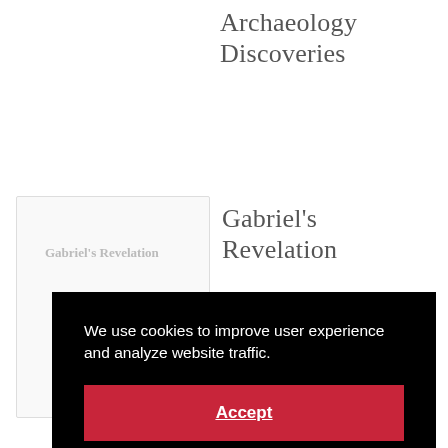Archaeology Discoveries
[Figure (screenshot): Card thumbnail preview showing 'Gabriel's Revelation' article card with a small image placeholder]
Gabriel's Revelation
We use cookies to improve user experience and analyze website traffic.
Accept
Gab…